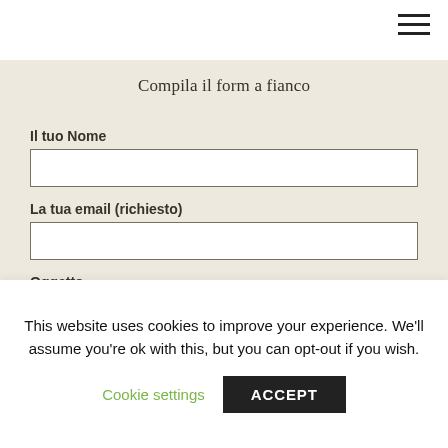[Figure (other): Hamburger menu icon (three horizontal lines) in top-right corner]
Compila il form a fianco
Il tuo Nome
La tua email (richiesto)
Oggetto
Il tuo messaggio
This website uses cookies to improve your experience. We'll assume you're ok with this, but you can opt-out if you wish.
Cookie settings
ACCEPT